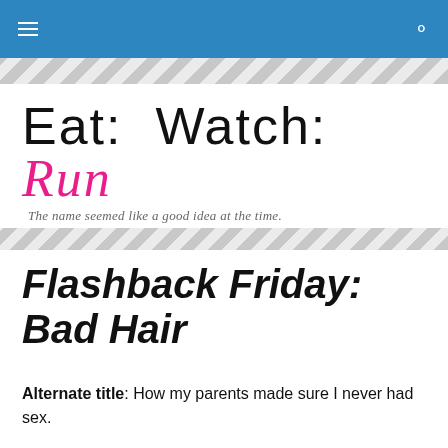Eat: Watch: Run — The name seemed like a good idea at the time.
Flashback Friday: Bad Hair
Alternate title: How my parents made sure I never had sex.
It's been a long time since I've done a Flashback Friday. I'm really good at starting up recurring posts and then